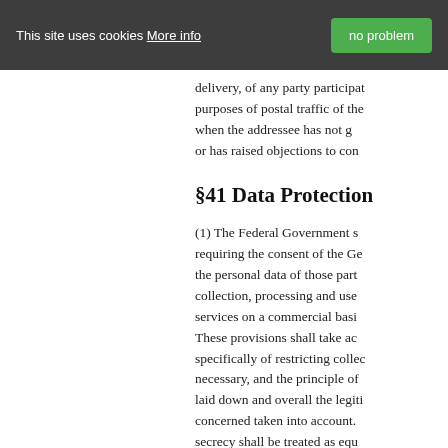This site uses cookies More info | no problem
delivery, of any party participat... purposes of postal traffic of the... when the addressee has not g... or has raised objections to con...
§41 Data Protection
(1) The Federal Government s... requiring the consent of the Ge... the personal data of those part... collection, processing and use... services on a commercial basi... These provisions shall take ac... specifically of restricting collec... necessary, and the principle of... laid down and overall the legiti... concerned taken into account.... secrecy shall be treated as equ...